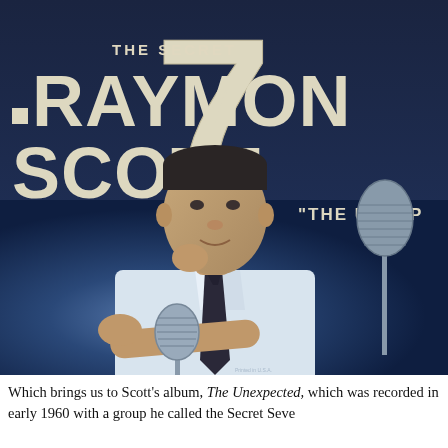[Figure (photo): Album cover for 'The Secret 7' featuring Raymond Scott. Dark navy background with large '7' numeral, text reading 'THE SECRET', 'RAYMOND SCOTT', and '"THE UNEXP...' (The Unexpected). Lower half shows a black-and-white/color photo of a man (Raymond Scott) seated, leaning on his hand, wearing a white shirt and dark tie, with microphone stands visible.]
Which brings us to Scott's album, The Unexpected, which was recorded in early 1960 with a group he called the Secret Seve